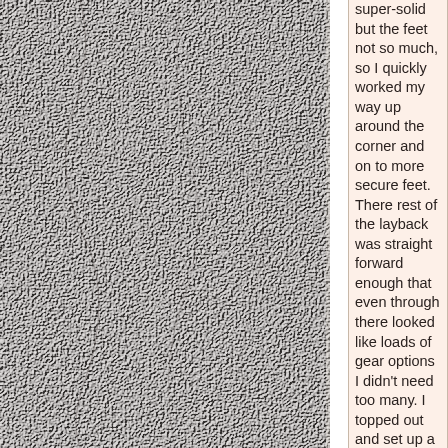[Figure (photo): Textured rock surface photograph showing rough grey-brown stone with natural surface variation and cracks]
super-solid but the feet not so much, so I quickly worked my way up around the corner and on to more secure feet. There rest of the layback was straight forward enough that even through there looked like loads of gear options I didn't need too many. I topped out and set up a comfy belay between the trees. Ben came up quickly but his foot unexpectedly slipped off and he fell a few meters as I had a little bit of rope out. He soon joined me at the belay and we went back to camp. Not quite as early this time, but my kids had been having